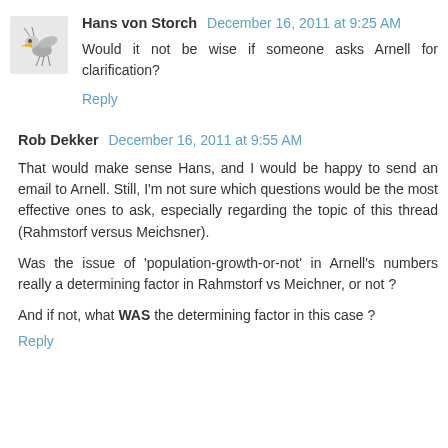[Figure (illustration): Small avatar icon of a bird/mosquito illustration]
Hans von Storch December 16, 2011 at 9:25 AM
Would it not be wise if someone asks Arnell for clarification?
Reply
Rob Dekker December 16, 2011 at 9:55 AM
That would make sense Hans, and I would be happy to send an email to Arnell. Still, I'm not sure which questions would be the most effective ones to ask, especially regarding the topic of this thread (Rahmstorf versus Meichsner).
Was the issue of 'population-growth-or-not' in Arnell's numbers really a determining factor in Rahmstorf vs Meichner, or not ?
And if not, what WAS the determining factor in this case ?
Reply